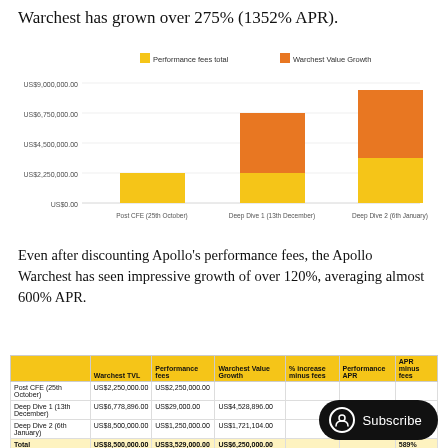Warchest has grown over 275% (1352% APR).
[Figure (stacked-bar-chart): Warchest Growth]
Even after discounting Apollo's performance fees, the Apollo Warchest has seen impressive growth of over 120%, averaging almost 600% APR.
|  | Warchest TVL | Performance fees | Warchest Value Growth | % increase minus fees | Performance APR | APR minus fees |
| --- | --- | --- | --- | --- | --- | --- |
| Post CFE (25th October) | US$2,250,000.00 | US$2,250,000.00 |  |  |  |  |
| Deep Dive 1 (13th December) | US$6,778,896.00 | US$29,000.00 | US$4,528,896.00 |  |  | 1,460% |
| Deep Dive 2 (6th January) | US$8,500,000.00 | US$1,250,000.00 | US$1,721,104.00 |  |  | 101% |
| Total | US$8,500,000.00 | US$3,529,000.00 | US$6,250,000.00 |  |  | 589% |